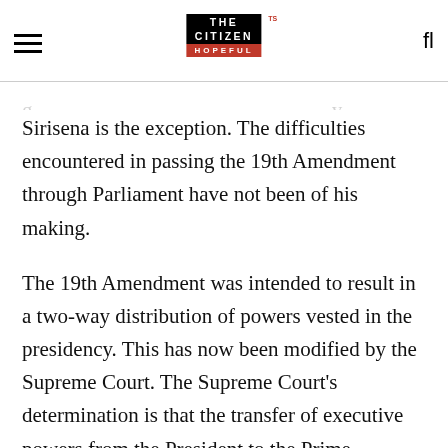THE CITIZEN IS HOPEFUL
Sirisena is the exception. The difficulties encountered in passing the 19th Amendment through Parliament have not been of his making.
The 19th Amendment was intended to result in a two-way distribution of powers vested in the presidency. This has now been modified by the Supreme Court. The Supreme Court’s determination is that the transfer of executive powers from the President to the Prime Minister affects the structure of governance envisaged in the constitution and therefore requires approval of the people at a referendum. It pointed to the Prime Minister becoming